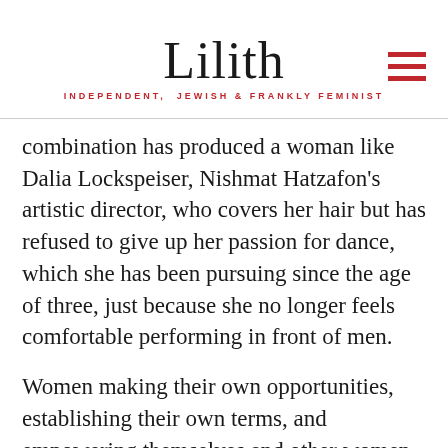(whether or not she attributes it to feminism) that she should be able to do and achiev
Lilith
INDEPENDENT, JEWISH & FRANKLY FEMINIST
combination has produced a woman like Dalia Lockspeiser, Nishmat Hatzafon’s artistic director, who covers her hair but has refused to give up her passion for dance, which she has been pursuing since the age of three, just because she no longer feels comfortable performing in front of men.
Women making their own opportunities, establishing their own terms, and empowering themselves and other women in the process, that’s what feminism is about. And these